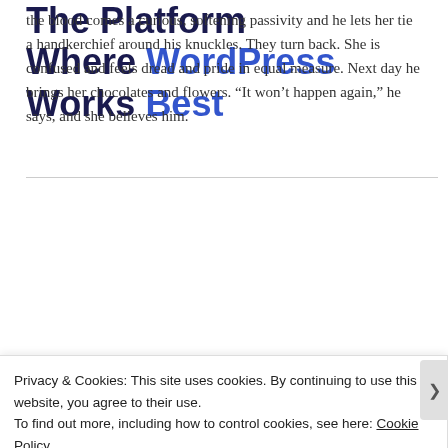the blood comes a curious, softening passivity and he lets her tie a handkerchief around his knuckles. They turn back. She is confused and feels dread and pride in equal measure. Next day he brings her chocolates and flowers. “It won’t happen again,” he says, and she believes him.
The Platform Where WordPress Works Best
[Figure (other): SEE PRICING button (blue background, white text)]
Privacy & Cookies: This site uses cookies. By continuing to use this website, you agree to their use.
To find out more, including how to control cookies, see here: Cookie Policy
Close and accept